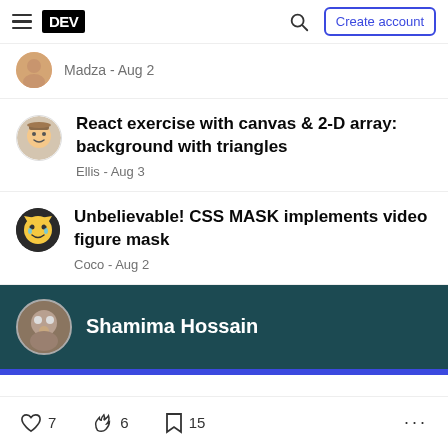DEV — Create account
Madza - Aug 2
React exercise with canvas & 2-D array: background with triangles
Ellis - Aug 3
Unbelievable! CSS MASK implements video figure mask
Coco - Aug 2
Shamima Hossain
7   6   15   ...